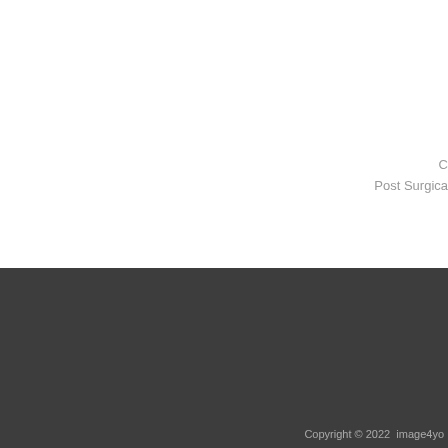C
Post Surgica
Join Our Mailing List
email address...
COMPANY INFORMATION
About Us
Shipping & Returns
Privacy
Copyright © 2022  image4yo